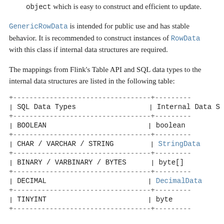object which is easy to construct and efficient to update.
GenericRowData is intended for public use and has stable behavior. It is recommended to construct instances of RowData with this class if internal data structures are required.
The mappings from Flink’s Table API and SQL data types to the internal data structures are listed in the following table:
| SQL Data Types | Internal Data S... |
| --- | --- |
| BOOLEAN | boolean |
| CHAR / VARCHAR / STRING | StringData |
| BINARY / VARBINARY / BYTES | byte[] |
| DECIMAL | DecimalData |
| TINYINT | byte |